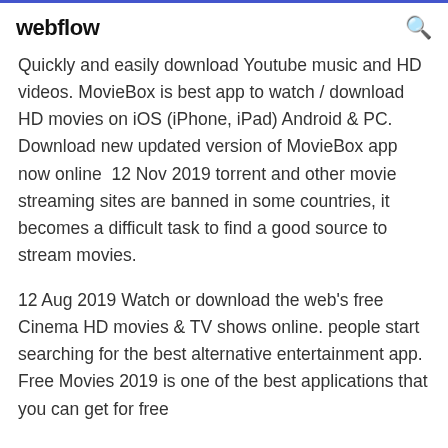webflow
Quickly and easily download Youtube music and HD videos. MovieBox is best app to watch / download HD movies on iOS (iPhone, iPad) Android & PC. Download new updated version of MovieBox app now online  12 Nov 2019 torrent and other movie streaming sites are banned in some countries, it becomes a difficult task to find a good source to stream movies.
12 Aug 2019 Watch or download the web's free Cinema HD movies & TV shows online. people start searching for the best alternative entertainment app. Free Movies 2019 is one of the best applications that you can get for free